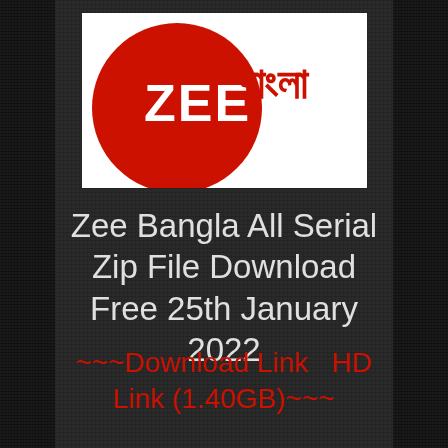[Figure (logo): Zee Bangla logo — white background rectangle with red circle and 'ZEE বাংলা' text in white and red]
Zee Bangla All Serial Zip File Download Free 25th January 2022
~~~Download Link  HD Link (1.40GB)~~~